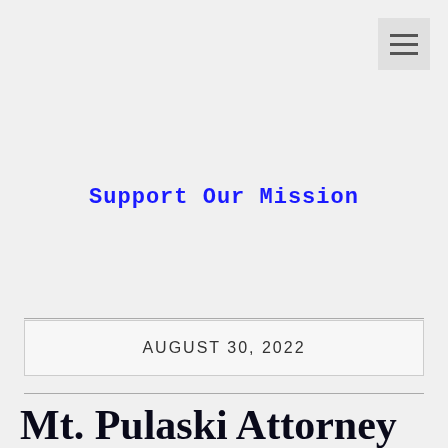[Figure (other): Hamburger menu icon button in top right corner]
Support Our Mission
AUGUST 30, 2022
Mt. Pulaski Attorney